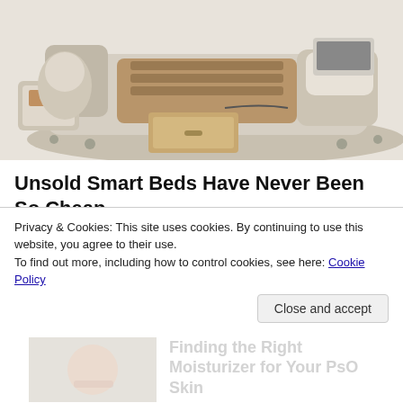[Figure (photo): Smart bed product photo showing a large modern bed with integrated storage drawers, massage chair attachment, and laptop stand, in beige/cream upholstery]
Unsold Smart Beds Have Never Been So Cheap
Smart Bed | Search Ads
[Figure (photo): Thumbnail image of a grocery store aisle with bokeh lighting and a woman shopping]
Sizing Up Your Psoriasis Medicine Cabinet
HealthCentral
Privacy & Cookies: This site uses cookies. By continuing to use this website, you agree to their use.
To find out more, including how to control cookies, see here: Cookie Policy
[Figure (photo): Partially visible thumbnail of another article about PsO Skin care]
Finding the Right Moisturizer for Your PsO Skin